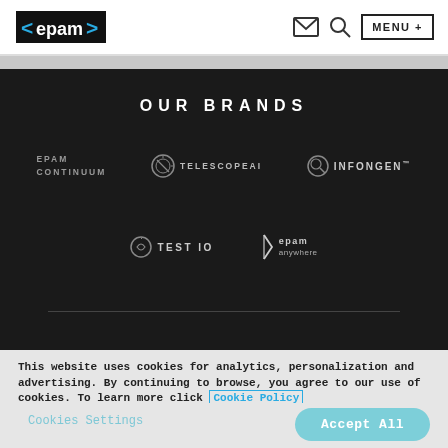epam | MENU +
OUR BRANDS
[Figure (logo): EPAM CONTINUUM brand logo in grey text]
[Figure (logo): TELESCOPEAI brand logo with circular icon]
[Figure (logo): INFONGEN brand logo with circular magnifier icon]
[Figure (logo): TEST IO brand logo with circular refresh icon]
[Figure (logo): epam anywhere brand logo with arrow/path icon]
This website uses cookies for analytics, personalization and advertising. By continuing to browse, you agree to our use of cookies. To learn more click Cookie Policy
Cookies Settings
Accept All